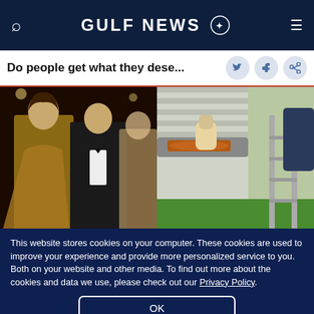GULF NEWS
Do people get what they dese...
[Figure (photo): Hollywood actor Sylvester Stallone and Jennifer Flavin at a red carpet event; woman in gold dress, man in tuxedo]
[Figure (photo): Close-up of a gutter being cleaned with copper/rust-colored debris and green grass visible in background]
Hollywood actor Sylvester Stallone and Jennifer Flavin to split after 25 years of
Do This Instead of Cleaning Gutters (It's Genius)
LeafFilter Partner | Sponsored
This website stores cookies on your computer. These cookies are used to improve your experience and provide more personalized service to you. Both on your website and other media. To find out more about the cookies and data we use, please check out our Privacy Policy.